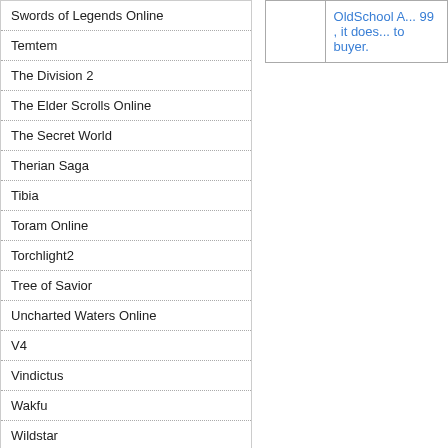| Game |
| --- |
| Swords of Legends Online |
| Temtem |
| The Division 2 |
| The Elder Scrolls Online |
| The Secret World |
| Therian Saga |
| Tibia |
| Toram Online |
| Torchlight2 |
| Tree of Savior |
| Uncharted Waters Online |
| V4 |
| Vindictus |
| Wakfu |
| Wildstar |
| Wildstar |
| World of Kings |
|  |  |
| --- | --- |
|  | OldSchool A... 99 , it does... to buyer. |